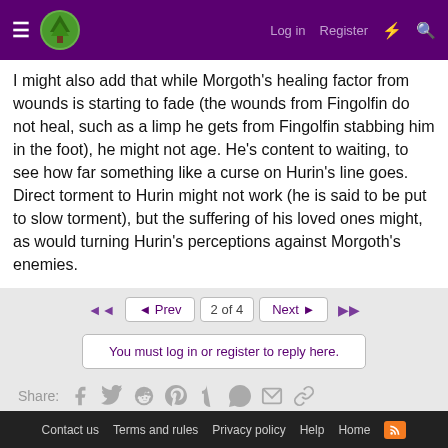Log in  Register
I might also add that while Morgoth's healing factor from wounds is starting to fade (the wounds from Fingolfin do not heal, such as a limp he gets from Fingolfin stabbing him in the foot), he might not age. He's content to waiting, to see how far something like a curse on Hurin's line goes. Direct torment to Hurin might not work (he is said to be put to slow torment), but the suffering of his loved ones might, as would turning Hurin's perceptions against Morgoth's enemies.
◄◄  ◄ Prev  2 of 4  Next ►  ►►
You must log in or register to reply here.
Share:
< General Topics
Contact us   Terms and rules   Privacy policy   Help   Home